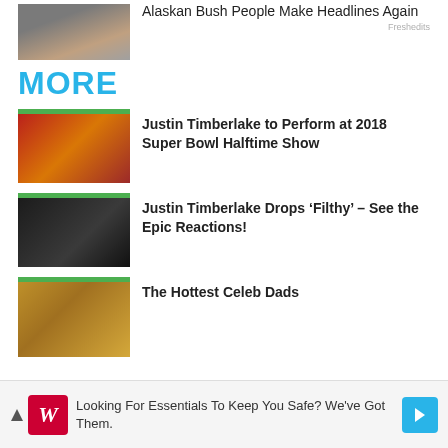[Figure (photo): Partial top of page showing group photo thumbnail for Alaskan Bush People article]
Alaskan Bush People Make Headlines Again
Freshedits
MORE
[Figure (photo): Justin Timberlake performing on stage with microphone, red lighting background]
Justin Timberlake to Perform at 2018 Super Bowl Halftime Show
[Figure (photo): Justin Timberlake in black turtleneck against dark background]
Justin Timberlake Drops ‘Filthy’ – See the Epic Reactions!
[Figure (photo): Celebrity dad photo, warm golden tones]
The Hottest Celeb Dads
[Figure (infographic): Walgreens advertisement banner: Looking For Essentials To Keep You Safe? We've Got Them.]